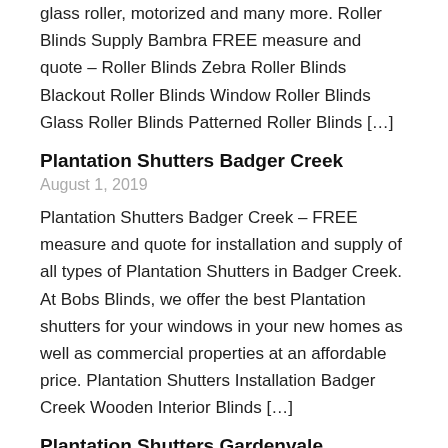glass roller, motorized and many more. Roller Blinds Supply Bambra FREE measure and quote – Roller Blinds Zebra Roller Blinds Blackout Roller Blinds Window Roller Blinds Glass Roller Blinds Patterned Roller Blinds […]
Plantation Shutters Badger Creek
August 1, 2019
Plantation Shutters Badger Creek – FREE measure and quote for installation and supply of all types of Plantation Shutters in Badger Creek. At Bobs Blinds, we offer the best Plantation shutters for your windows in your new homes as well as commercial properties at an affordable price. Plantation Shutters Installation Badger Creek Wooden Interior Blinds […]
Plantation Shutters Gardenvale